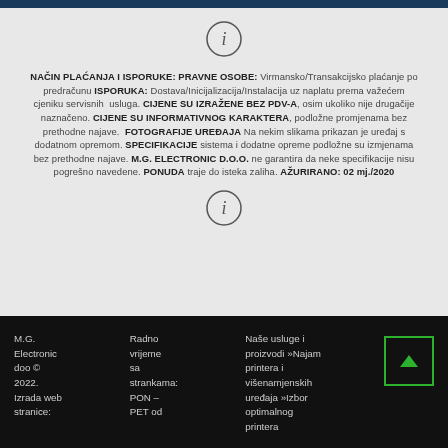[Figure (other): Information icon (circle with letter i) at top center]
NAČIN PLAĆANJA I ISPORUKE: PRAVNE OSOBE: Virmansko/Transakcijsko plaćanje po predračunu ISPORUKA: Dostava/Inicijalizacija/Instalacija uz naplatu prema važećem cjeniku servisnih usluga. CIJENE SU IZRAŽENE BEZ PDV-A, osim ukoliko nije drugačije naznačeno. CIJENE SU INFORMATIVNOG KARAKTERA, podložne promjenama bez prethodne najave. FOTOGRAFIJE UREĐAJA Na nekim slikama prikazan je uređaj s dodatnom opremom. SPECIFIKACIJE sistema i dodatne opreme podložne su izmjenama bez prethodne najave. M.G. ELECTRONIC D.O.O. ne garantira da neke specifikacije nisu pogrešno navedene. PONUDA traje do isteka zaliha. AŽURIRANO: 02 mj./2020
[Figure (other): Information icon (circle with letter i) at bottom center]
M.G. Electronic doo © 2022. Izrada web stranice: M.G.   Radno vrijeme sa strankama: PON – PET od 8 do...   Naše usluge i proizvodi »Najam printera i višenamjenskih uređaja »Izbor optimalnog printera